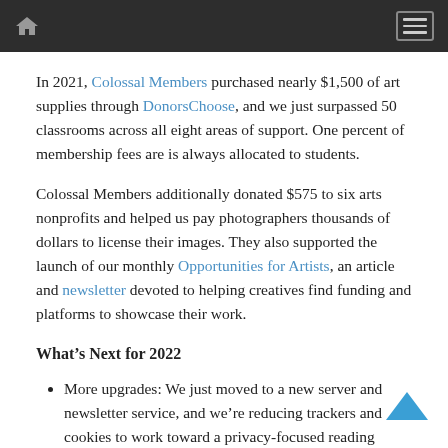Navigation header with home icon and menu button
In 2021, Colossal Members purchased nearly $1,500 of art supplies through DonorsChoose, and we just surpassed 50 classrooms across all eight areas of support. One percent of membership fees are is always allocated to students.
Colossal Members additionally donated $575 to six arts nonprofits and helped us pay photographers thousands of dollars to license their images. They also supported the launch of our monthly Opportunities for Artists, an article and newsletter devoted to helping creatives find funding and platforms to showcase their work.
What’s Next for 2022
More upgrades: We just moved to a new server and newsletter service, and we’re reducing trackers and cookies to work toward a privacy-focused reading experience.
A Colossal Speaker Series: We’re organizing talks, studio tours, workshops, panels, and more with